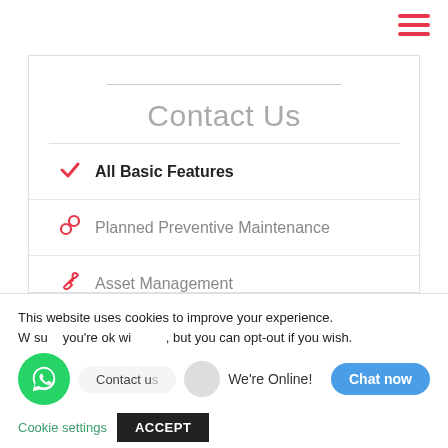[Figure (infographic): Hamburger menu icon with three red horizontal lines, top right corner]
Contact Us
All Basic Features
Planned Preventive Maintenance
Asset Management
This website uses cookies to improve your experience. We assume you're ok with this, but you can opt-out if you wish.
Contact us
We're Online!
Chat now
Cookie settings
ACCEPT